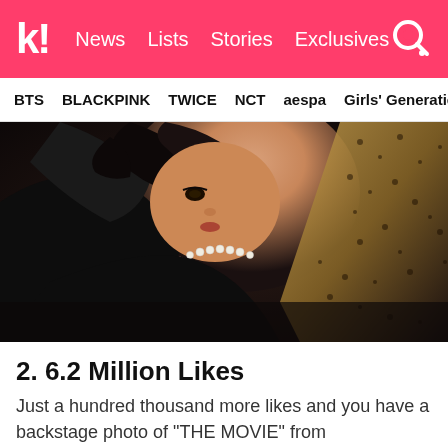k! News  Lists  Stories  Exclusives
BTS  BLACKPINK  TWICE  NCT  aespa  Girls' Generation
[Figure (photo): A woman with dark curly hair wearing a black outfit and pearl necklace, posing in a glamorous editorial style]
2. 6.2 Million Likes
Just a hundred thousand more likes and you have a backstage photo of "THE MOVIE" from